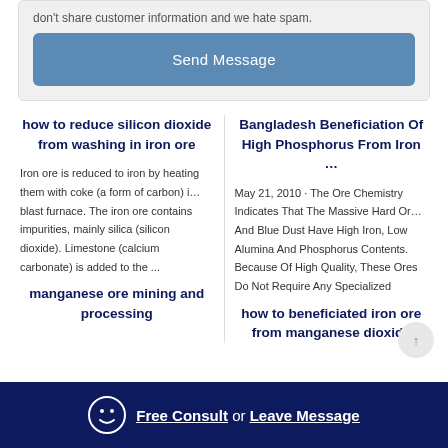don't share customer information and we hate spam.
Send Message
how to reduce silicon dioxide from washing in iron ore
Bangladesh Beneficiation Of High Phosphorus From Iron ...
Iron ore is reduced to iron by heating them with coke (a form of carbon) i… blast furnace. The iron ore contains impurities, mainly silica (silicon dioxide). Limestone (calcium carbonate) is added to the ...
May 21, 2010 · The Ore Chemistry Indicates That The Massive Hard Or… And Blue Dust Have High Iron, Low Alumina And Phosphorus Contents. Because Of High Quality, These Ores Do Not Require Any Specialized
manganese ore mining and processing
how to beneficiated iron ore from manganese dioxide
Free Consult or Leave Message